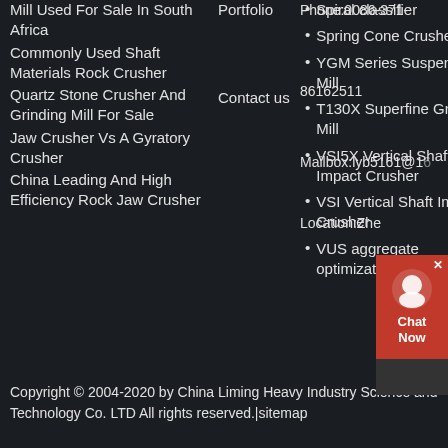Mill Used For Sale In South Africa
Commonly Used Shaft Materials Rock Crusher
Quartz Stone Crusher And Grinding Mill For Sale
Jaw Crusher Vs A Gyratory Crusher
China Leading And High Efficiency Rock Jaw Crusher
Portfolio
Contact us
Spiral classifier
Spring Cone Crusher
YGM Series Suspension Mill
T130X Superfine Grinding Mill
VSI5X Vertical Shaft Impact Crusher
VSI Vertical Shaft Impact-Crusher
VUS aggregate optimization system
Phone:0086-371-86162511
Mailbox:lyb5161@1
Location:Zhe
Copyright © 2004-2020 by China Liming Heavy Industry Science and Technology Co. LTD All rights reserved.|sitemap